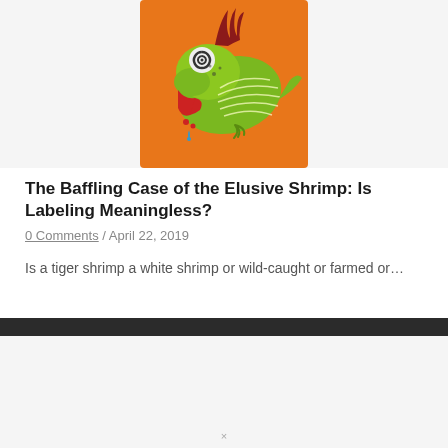[Figure (illustration): Stylized illustration of a green chameleon or lizard on an orange background, with spiral eyes, red tongue dripping blue drops, and decorative line patterns on body. Used as article header image.]
The Baffling Case of the Elusive Shrimp: Is Labeling Meaningless?
0 Comments / April 22, 2019
Is a tiger shrimp a white shrimp or wild-caught or farmed or…
×